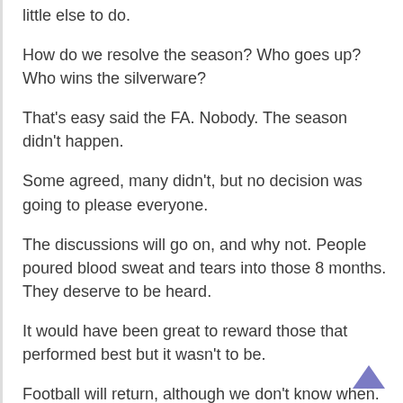little else to do.
How do we resolve the season? Who goes up? Who wins the silverware?
That's easy said the FA. Nobody. The season didn't happen.
Some agreed, many didn't, but no decision was going to please everyone.
The discussions will go on, and why not. People poured blood sweat and tears into those 8 months. They deserve to be heard.
It would have been great to reward those that performed best but it wasn't to be.
Football will return, although we don't know when.